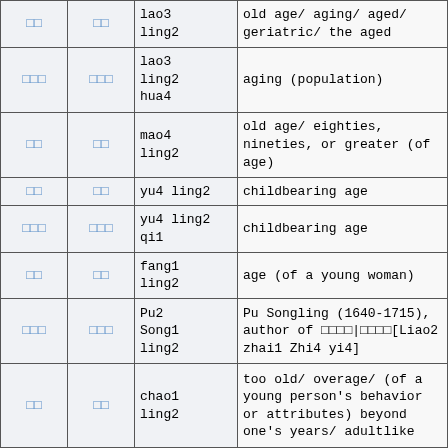| Chinese (simplified) | Chinese (traditional) | Pinyin | English definition |
| --- | --- | --- | --- |
| □□ | □□ | lao3 ling2 | old age/ aging/ aged/ geriatric/ the aged |
| □□□ | □□□ | lao3 ling2 hua4 | aging (population) |
| □□ | □□ | mao4 ling2 | old age/ eighties, nineties, or greater (of age) |
| □□ | □□ | yu4 ling2 | childbearing age |
| □□□ | □□□ | yu4 ling2 qi1 | childbearing age |
| □□ | □□ | fang1 ling2 | age (of a young woman) |
| □□□ | □□□ | Pu2 Song1 ling2 | Pu Songling (1640-1715), author of □□□□|□□□□[Liao2 zhai1 Zhi4 yi4] |
| □□ | □□ | chao1 ling2 | too old/ overage/ (of a young person's behavior or attributes) beyond one's years/ adultlike |